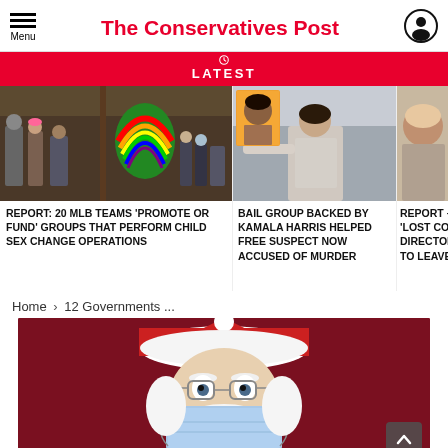The Conservatives Post
LATEST
[Figure (photo): News strip showing three photo thumbnails: (1) people with a rainbow-costumed character, (2) a woman at a podium with an inset mugshot, (3) a partially visible person]
REPORT: 20 MLB TEAMS 'PROMOTE OR FUND' GROUPS THAT PERFORM CHILD SEX CHANGE OPERATIONS
BAIL GROUP BACKED BY KAMALA HARRIS HELPED FREE SUSPECT NOW ACCUSED OF MURDER
REPORT – 'LOST CO... DIRECTOR TO LEAVE
Home › 12 Governments ...
[Figure (photo): Santa Claus wearing a blue face mask against a dark red background, looking at camera with wide eyes]